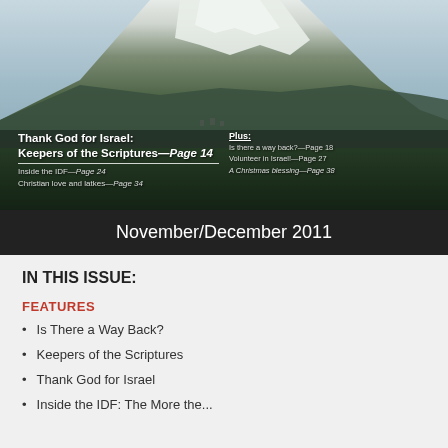[Figure (photo): Magazine cover showing a snow-capped mountain with a valley and village below. Text overlay includes 'Thank God for Israel: Keepers of the Scriptures—Page 14', 'Inside the IDF—Page 24', 'Christian love and latkes—Page 34', and 'Plus: Is there a way back?—Page 18, Volunteer in Israel!—Page 27, A Christmas blessing—Page 38']
November/December 2011
IN THIS ISSUE:
FEATURES
Is There a Way Back?
Keepers of the Scriptures
Thank God for Israel
Inside the IDF: The More the...